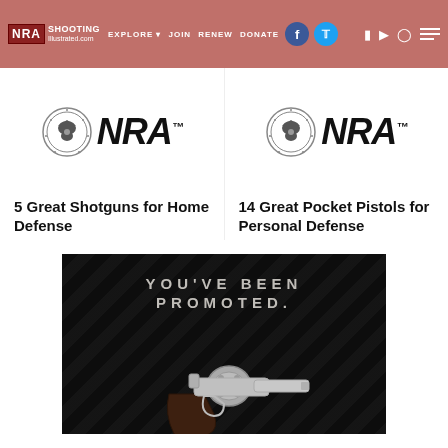NRA SHOOTING Illustrated.com | EXPLORE | JOIN | RENEW | DONATE
[Figure (logo): NRA logo with emblem - left card]
5 Great Shotguns for Home Defense
[Figure (logo): NRA logo with emblem - right card]
14 Great Pocket Pistols for Personal Defense
[Figure (photo): Advertisement banner with dark background showing text YOU'VE BEEN PROMOTED. and a silver revolver handgun]